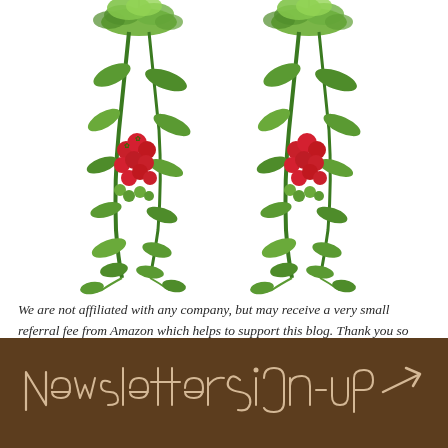[Figure (illustration): Two illustrated hanging tomato plants with red and green tomatoes cascading downward, with foliage at the top, shown side by side on a white background.]
We are not affiliated with any company, but may receive a very small referral fee from Amazon which helps to support this blog. Thank you so much for your support!
Newsletter Sign-up